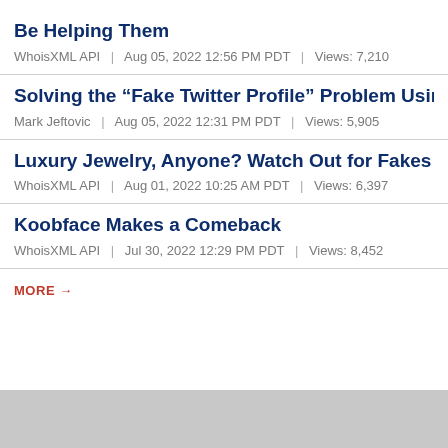Be Helping Them
WhoisXML API | Aug 05, 2022 12:56 PM PDT | Views: 7,210
Solving the “Fake Twitter Profile” Problem Using D
Mark Jeftovic | Aug 05, 2022 12:31 PM PDT | Views: 5,905
Luxury Jewelry, Anyone? Watch Out for Fakes
WhoisXML API | Aug 01, 2022 10:25 AM PDT | Views: 6,397
Koobface Makes a Comeback
WhoisXML API | Jul 30, 2022 12:29 PM PDT | Views: 8,452
MORE →